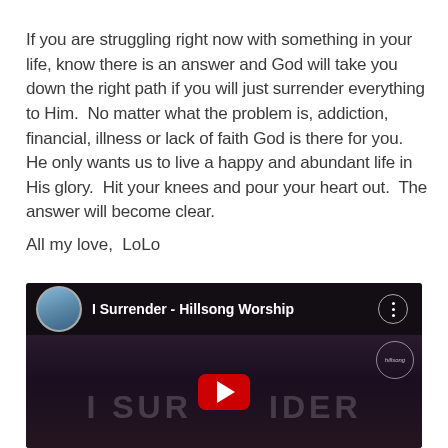If you are struggling right now with something in your life, know there is an answer and God will take you down the right path if you will just surrender everything to Him.  No matter what the problem is, addiction, financial, illness or lack of faith God is there for you.  He only wants us to live a happy and abundant life in His glory.  Hit your knees and pour your heart out.  The answer will become clear.
All my love,  LoLo
[Figure (screenshot): Embedded YouTube video thumbnail showing 'I Surrender - Hillsong Worship'. Dark background with a musician playing guitar. Large YouTube play button in center. Video title bar at top with channel thumbnail and title text.]